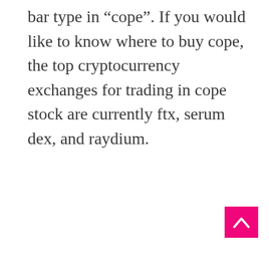bar type in “cope”. If you would like to know where to buy cope, the top cryptocurrency exchanges for trading in cope stock are currently ftx, serum dex, and raydium.